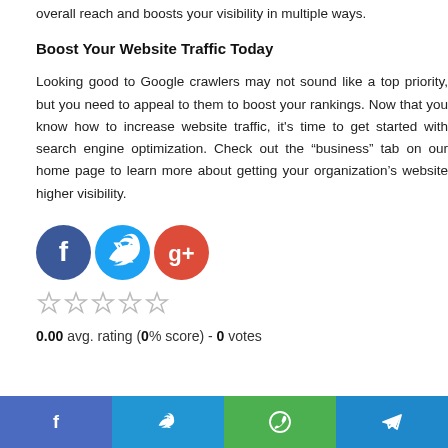overall reach and boosts your visibility in multiple ways.
Boost Your Website Traffic Today
Looking good to Google crawlers may not sound like a top priority, but you need to appeal to them to boost your rankings. Now that you know how to increase website traffic, it's time to get started with search engine optimization. Check out the “business” tab on our home page to learn more about getting your organization’s website higher visibility.
[Figure (infographic): Social media sharing icons: Facebook (blue circle with f), Twitter (light blue circle with bird), Google+ (red circle with g+)]
[Figure (infographic): Five empty star rating icons]
0.00 avg. rating (0% score) - 0 votes
[Figure (infographic): Bottom share bar with four buttons: Facebook (blue), Twitter (light blue), WhatsApp (green), Telegram (blue)]